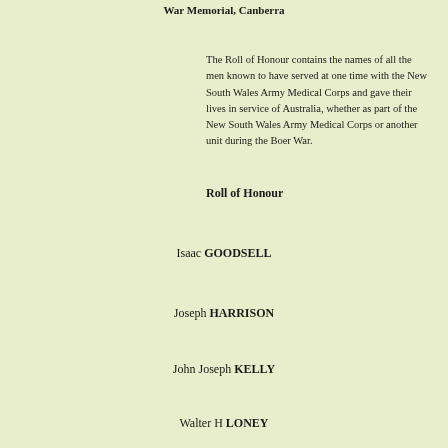War Memorial, Canberra
The Roll of Honour contains the names of all the men known to have served at one time with the New South Wales Army Medical Corps and gave their lives in service of Australia, whether as part of the New South Wales Army Medical Corps or another unit during the Boer War.
Roll of Honour
Isaac GOODSELL
Joseph HARRISON
John Joseph KELLY
Walter H LONEY